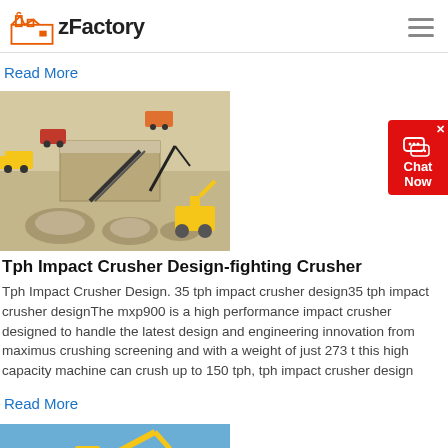zFactory
Read More
[Figure (illustration): 3D isometric illustration of a mining/crushing plant site with trucks, excavators, conveyor belts, and stone piles]
Tph Impact Crusher Design-fighting Crusher
Tph Impact Crusher Design. 35 tph impact crusher design35 tph impact crusher designThe mxp900 is a high performance impact crusher designed to handle the latest design and engineering innovation from maximus crushing screening and with a weight of just 273 t this high capacity machine can crush up to 150 tph, tph impact crusher design
Read More
[Figure (photo): Photo of construction/mining equipment (excavator) against a blue sky]